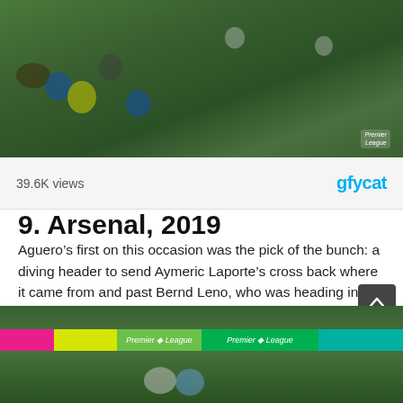[Figure (screenshot): Football match screenshot showing players on a green pitch, Premier League watermark visible in bottom right]
39.6K views
gfycat
9. Arsenal, 2019
Aguero’s first on this occasion was the pick of the bunch: a diving header to send Aymeric Laporte’s cross back where it came from and past Bernd Leno, who was heading in the opposite direction.
His second and third were both tap-ins from low Raheem Sterling crosses, with the latter actually going in off his arm. Not that he cared.
[Figure (screenshot): Football match screenshot from a stadium showing players on pitch with Premier League advertising boards visible]